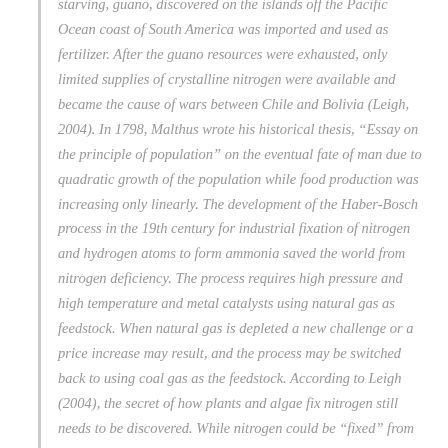starving, guano, discovered on the islands off the Pacific Ocean coast of South America was imported and used as fertilizer. After the guano resources were exhausted, only limited supplies of crystalline nitrogen were available and became the cause of wars between Chile and Bolivia (Leigh, 2004). In 1798, Malthus wrote his historical thesis, "Essay on the principle of population" on the eventual fate of man due to quadratic growth of the population while food production was increasing only linearly. The development of the Haber-Bosch process in the 19th century for industrial fixation of nitrogen and hydrogen atoms to form ammonia saved the world from nitrogen deficiency. The process requires high pressure and high temperature and metal catalysts using natural gas as feedstock. When natural gas is depleted a new challenge or a price increase may result, and the process may be switched back to using coal gas as the feedstock. According to Leigh (2004), the secret of how plants and algae fix nitrogen still needs to be discovered. While nitrogen could be "fixed" from the huge reservoir in the atmosphere, there is no such reservoir of phosphorus